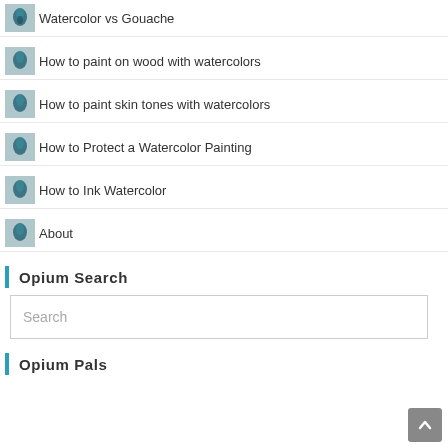Watercolor vs Gouache
How to paint on wood with watercolors
How to paint skin tones with watercolors
How to Protect a Watercolor Painting
How to Ink Watercolor
About
Opium Search
Search
Opium Pals